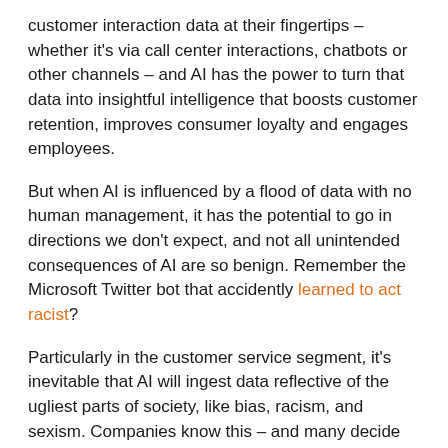customer interaction data at their fingertips – whether it's via call center interactions, chatbots or other channels – and AI has the power to turn that data into insightful intelligence that boosts customer retention, improves consumer loyalty and engages employees.
But when AI is influenced by a flood of data with no human management, it has the potential to go in directions we don't expect, and not all unintended consequences of AI are so benign. Remember the Microsoft Twitter bot that accidently learned to act racist?
Particularly in the customer service segment, it's inevitable that AI will ingest data reflective of the ugliest parts of society, like bias, racism, and sexism. Companies know this – and many decide the best solution is to put guardrails in place to mitigate and eliminate data bias.